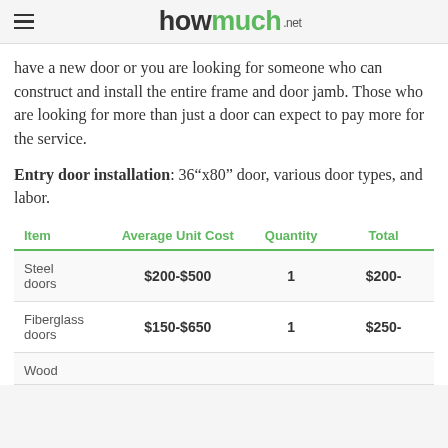howmuch .net
have a new door or you are looking for someone who can construct and install the entire frame and door jamb. Those who are looking for more than just a door can expect to pay more for the service.
Entry door installation: 36”x80” door, various door types, and labor.
| Item | Average Unit Cost | Quantity | Total |
| --- | --- | --- | --- |
| Steel doors | $200-$500 | 1 | $200- |
| Fiberglass doors | $150-$650 | 1 | $250- |
| Wood |  |  |  |